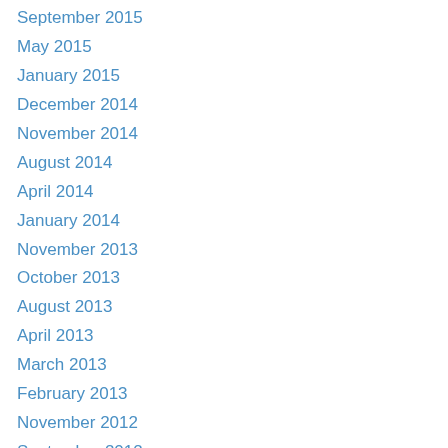September 2015
May 2015
January 2015
December 2014
November 2014
August 2014
April 2014
January 2014
November 2013
October 2013
August 2013
April 2013
March 2013
February 2013
November 2012
September 2012
August 2012
July 2012
June 2012
May 2012